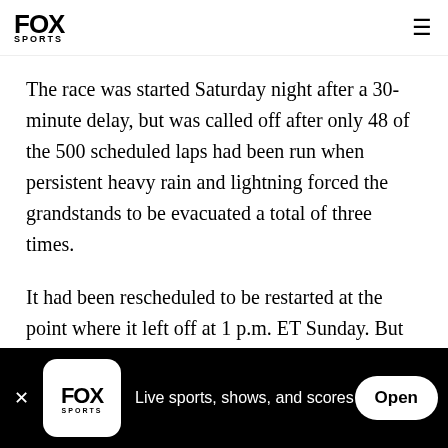FOX SPORTS
The race was started Saturday night after a 30-minute delay, but was called off after only 48 of the 500 scheduled laps had been run when persistent heavy rain and lightning forced the grandstands to be evacuated a total of three times.
It had been rescheduled to be restarted at the point where it left off at 1 p.m. ET Sunday. But that did not happen after the rain returned in full force again Sunday morning and again in the early afternoon The
FOX SPORTS – Live sports, shows, and scores – Open